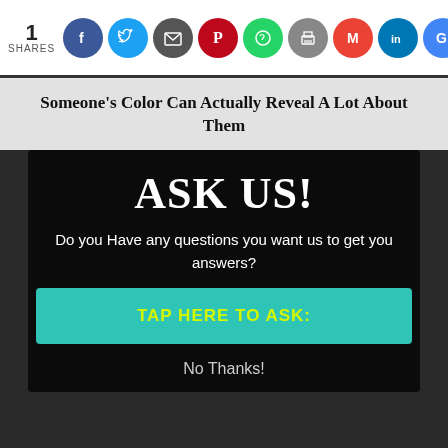1 SHARES
[Figure (infographic): Social sharing icons row: Facebook, Twitter, Share/Email, Pinterest, WhatsApp, Print, Gmail, LinkedIn, Google]
Someone's Color Can Actually Reveal A Lot About Them
ASK US!
Do you Have any questions you want us to get you answers?
TAP HERE TO ASK:
No Thanks!